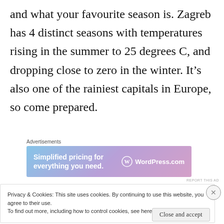and what your favourite season is. Zagreb has 4 distinct seasons with temperatures rising in the summer to 25 degrees C, and dropping close to zero in the winter. It's also one of the rainiest capitals in Europe, so come prepared.
Advertisements
[Figure (other): WordPress.com advertisement banner with gradient blue-pink background. Text reads 'Simplified pricing for everything you need.' with WordPress.com logo on the right.]
Privacy & Cookies: This site uses cookies. By continuing to use this website, you agree to their use.
To find out more, including how to control cookies, see here: Cookie Policy
Close and accept